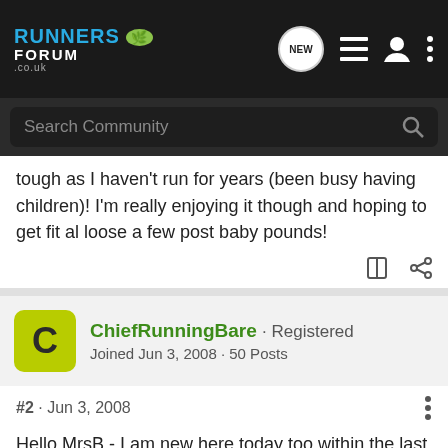Runners Forum .co.uk — navigation header with NEW, list, user, and more icons
Search Community
tough as I haven't run for years (been busy having children)! I'm really enjoying it though and hoping to get fit al loose a few post baby pounds!
ChiefRunningBare · Registered
Joined Jun 3, 2008 · 50 Posts
#2 · Jun 3, 2008
Hello MrsB - I am new here today too within the last half hour! Although not new to running but thought I'd say hello to a fellow forum newbie!:d